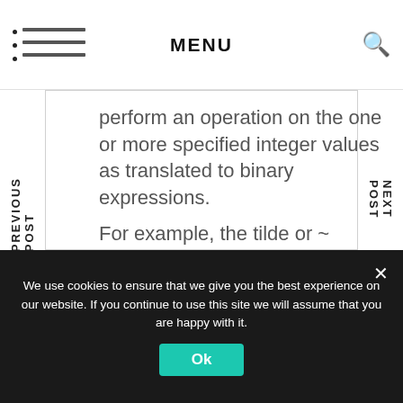MENU
perform an operation on the one or more specified integer values as translated to binary expressions. For example, the tilde or ~ (Bitwise NOT) operator changes binary 1s to 0s and 0s to
PREVIOUS POST
NEXT POST
We use cookies to ensure that we give you the best experience on our website. If you continue to use this site we will assume that you are happy with it.
Ok